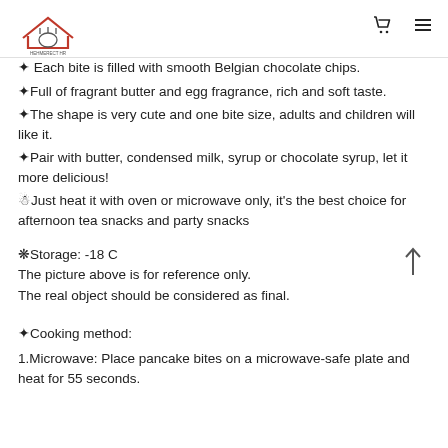HEHMERECT HR logo with cart and menu icons
✦ Each bite is filled with smooth Belgian chocolate chips.
✦Full of fragrant butter and egg fragrance, rich and soft taste.
✦The shape is very cute and one bite size, adults and children will like it.
✦Pair with butter, condensed milk, syrup or chocolate syrup, let it more delicious!
☃Just heat it with oven or microwave only, it's the best choice for afternoon tea snacks and party snacks
❋Storage: -18 C
The picture above is for reference only.
The real object should be considered as final.
✦Cooking method:
1.Microwave: Place pancake bites on a microwave-safe plate and heat for 55 seconds.